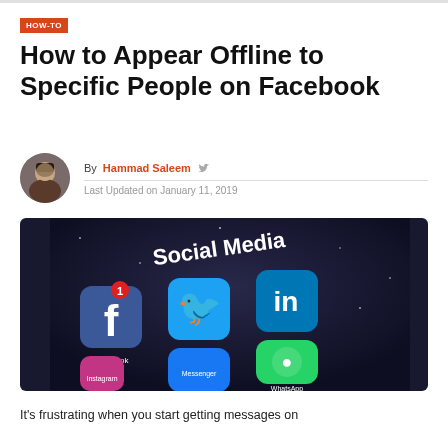HOW-TO
How to Appear Offline to Specific People on Facebook
By Hammad Saleem
Last Updated on January 11, 2019
[Figure (photo): A smartphone displaying a social media app folder screen with Facebook, Twitter, LinkedIn, WhatsApp, Instagram, and Messenger icons. The folder is labeled 'Social Media'.]
It's frustrating when you start getting messages on